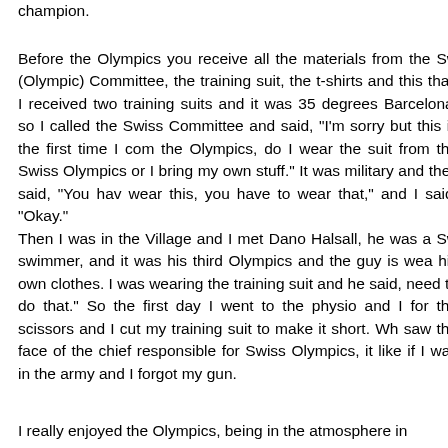champion.
Before the Olympics you receive all the materials from the Swiss (Olympic) Committee, the training suit, the t-shirts and this and that. I received two training suits and it was 35 degrees in Barcelona, so I called the Swiss Committee and said, “I’m sorry but this is the first time I come to the Olympics, do I wear the suit from the Swiss Olympics or can I bring my own stuff.” It was military and they said, “You have to wear this, you have to wear that,” and I said, “Okay.”
Then I was in the Village and I met Dano Halsall, he was a Swiss swimmer, and it was his third Olympics and the guy is wearing his own clothes. I was wearing the training suit and he said, “You don’t need to do that.” So the first day I went to the physio and I asked for the scissors and I cut my training suit to make it short. When I saw the face of the chief responsible for Swiss Olympics, it was like if I was in the army and I forgot my gun.
I really enjoyed the Olympics, being in the atmosphere in